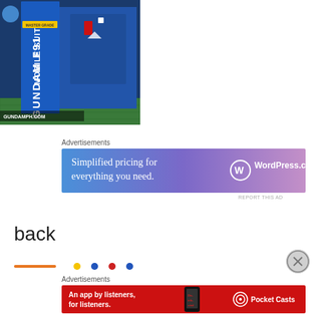[Figure (photo): Photo of a Mobile Suit Gundam F91 model kit box displayed upright, showing the box art. Text 'GUNDAMPH.COM' appears in the lower left corner of the image.]
Advertisements
[Figure (other): Advertisement banner for WordPress.com with blue-to-pink gradient background. Text reads: 'Simplified pricing for everything you need.' with WordPress.com logo on the right.]
REPORT THIS AD
back
[Figure (other): Partial view of navigation/scrollbar dots at the bottom of an image gallery, showing colored dots.]
Advertisements
[Figure (other): Advertisement banner for Pocket Casts on red background. Text reads: 'An app by listeners, for listeners.' with Pocket Casts logo on the right and phone image in center.]